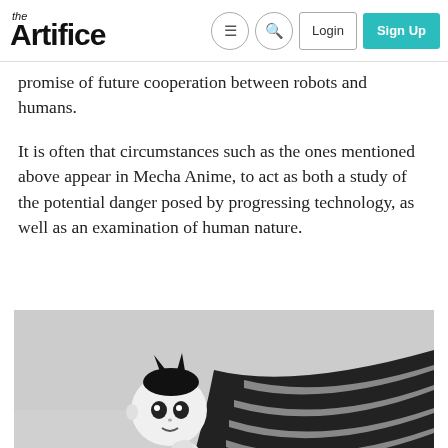the Artifice | Login | Sign Up
promise of future cooperation between robots and humans.
It is often that circumstances such as the ones mentioned above appear in Mecha Anime, to act as both a study of the potential danger posed by progressing technology, as well as an examination of human nature.
[Figure (illustration): Black and white illustration of Astro Boy (anime robot character with pointed hair) in a flying or action pose, viewed from a low angle against a light grey sky background.]